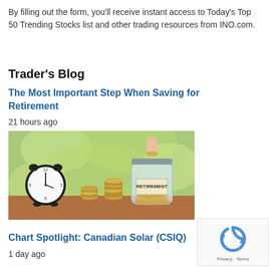By filling out the form, you'll receive instant access to Today's Top 50 Trending Stocks list and other trading resources from INO.com.
Trader's Blog
The Most Important Step When Saving for Retirement
21 hours ago
[Figure (photo): A glass jar labeled RETIREMENT filled with coins, stacks of coins beside it, and an analog alarm clock, in front of a blurred green background. A hand is dropping a coin into the jar.]
Chart Spotlight: Canadian Solar (CSIQ)
1 day ago